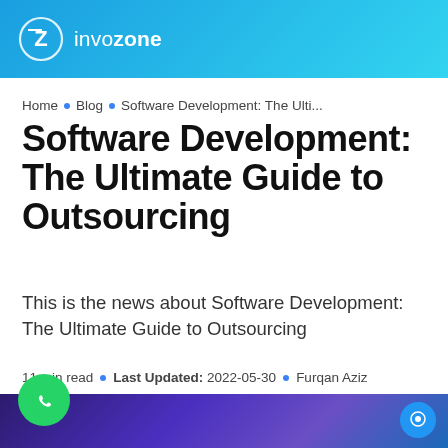invozone
Home • Blog • Software Development: The Ulti...
Software Development: The Ultimate Guide to Outsourcing
This is the news about Software Development: The Ultimate Guide to Outsourcing
11 min read • Last Updated: 2022-05-30 • Furqan Aziz